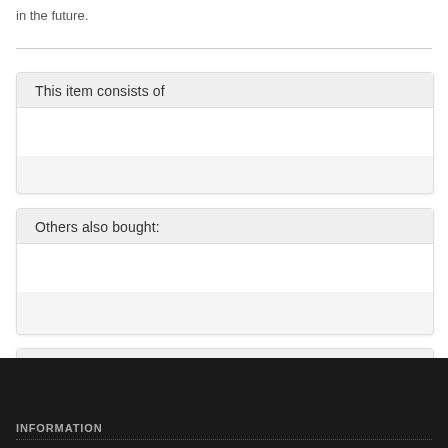in the future.
This item consists of
Others also bought:
Similar items
INFORMATION